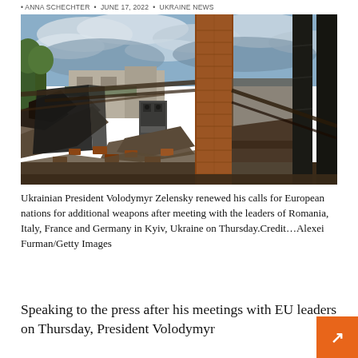• ANNA SCHECHTER • JUNE 17, 2022 • UKRAINE NEWS
[Figure (photo): Bombed-out destroyed house with rubble, burned appliances, and a standing brick chimney/column, trees in background under cloudy sky — war damage in Ukraine]
Ukrainian President Volodymyr Zelensky renewed his calls for European nations for additional weapons after meeting with the leaders of Romania, Italy, France and Germany in Kyiv, Ukraine on Thursday.Credit…Alexei Furman/Getty Images
Speaking to the press after his meetings with EU leaders on Thursday, President Volodymyr